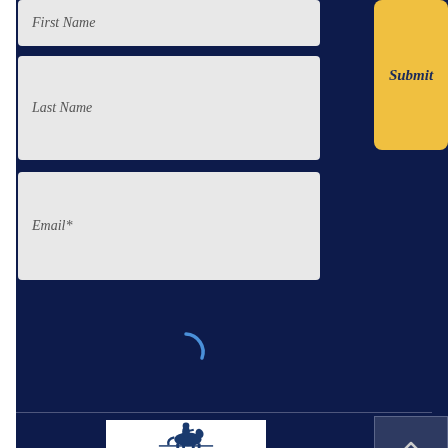[Figure (screenshot): Form field placeholder: First Name (partially visible at top)]
[Figure (screenshot): Form field placeholder: Last Name]
[Figure (screenshot): Form field placeholder: Email*]
[Figure (screenshot): Yellow Submit button on the right side]
[Figure (screenshot): Loading spinner arc (blue partial circle) in dark navy background area]
[Figure (logo): PATH International logo - Professional Association of Therapeutic Horsemanship International, white box with navy horse rider silhouette and text]